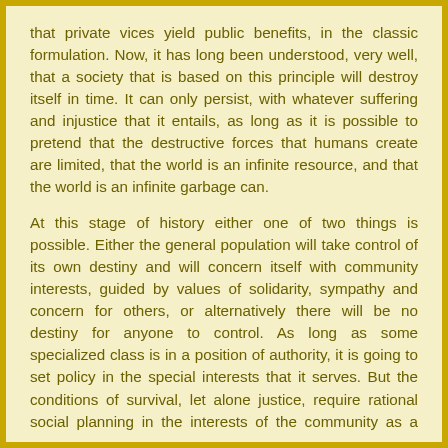that private vices yield public benefits, in the classic formulation. Now, it has long been understood, very well, that a society that is based on this principle will destroy itself in time. It can only persist, with whatever suffering and injustice that it entails, as long as it is possible to pretend that the destructive forces that humans create are limited, that the world is an infinite resource, and that the world is an infinite garbage can.
At this stage of history either one of two things is possible. Either the general population will take control of its own destiny and will concern itself with community interests, guided by values of solidarity, sympathy and concern for others, or alternatively there will be no destiny for anyone to control. As long as some specialized class is in a position of authority, it is going to set policy in the special interests that it serves. But the conditions of survival, let alone justice, require rational social planning in the interests of the community as a whole, and by now that means the global community. The question is whether privileged elite should dominate mass communication and